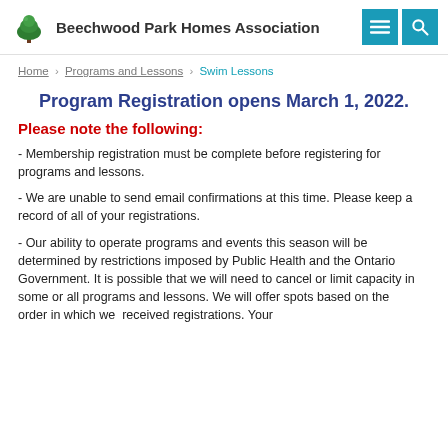Beechwood Park Homes Association
Home › Programs and Lessons › Swim Lessons
Program Registration opens March 1, 2022.
Please note the following:
- Membership registration must be complete before registering for programs and lessons.
- We are unable to send email confirmations at this time. Please keep a record of all of your registrations.
- Our ability to operate programs and events this season will be determined by restrictions imposed by Public Health and the Ontario    Government. It is possible that we will need to cancel or limit capacity in some or all programs and lessons. We will offer spots based on the    order in which we received registrations. Your